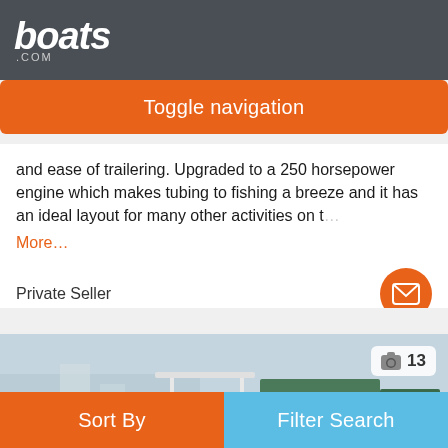boats.com
Toggle navigation
and ease of trailering. Upgraded to a 250 horsepower engine which makes tubing to fishing a breeze and it has an ideal layout for many other activities on t…
More…
Private Seller
[Figure (photo): White center console boat docked at a marina, with T-top and beige seating, photo count badge showing camera icon and 13]
Sort By
Filter Search